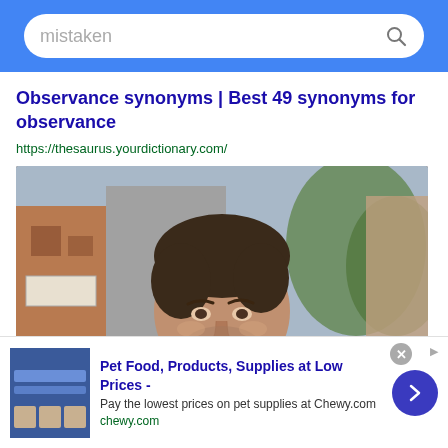mistaken
Observance synonyms | Best 49 synonyms for observance
https://thesaurus.yourdictionary.com/
[Figure (photo): Photo of a young man with dark hair, shirtless, outdoors on a street with buildings and trees in background]
Pet Food, Products, Supplies at Low Prices - Pay the lowest prices on pet supplies at Chewy.com chewy.com